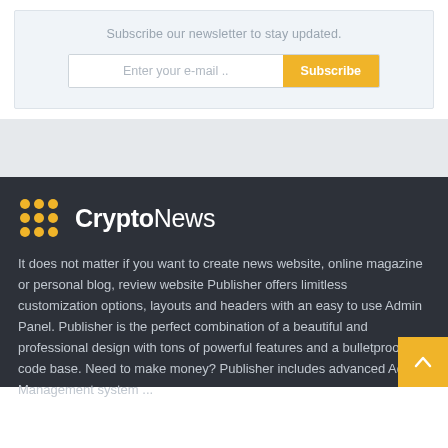Subscribe our newsletter to stay updated.
Enter your e-mail ..
Subscribe
[Figure (logo): CryptoNews logo with yellow dot-grid icon and bold/regular white text]
It does not matter if you want to create news website, online magazine or personal blog, review website Publisher offers limitless customization options, layouts and headers with an easy to use Admin Panel. Publisher is the perfect combination of a beautiful and professional design with tons of powerful features and a bulletproof code base. Need to make money? Publisher includes advanced Ads Management system ...